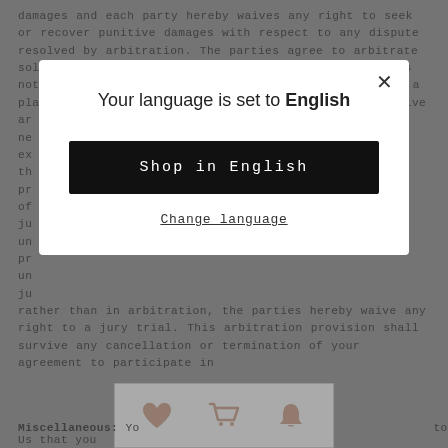damages and each party hereby waives any right to seek or recover punitive damages with respect to any dispute resolved by arbitration. The parties agree to arbitrate solely on an individual basis, and this agreement does not permit class arbitration or any claims brought as a plaintiff or class member in any class or representative ar[...] ne[...] ex[...] th[...] pr[...] of [...] ju[...] un[...] pr[...] un[...] ju[...] rt rather than in arbitration, the parties hereby waive any right to a jury trial. This arbitration provision shall survive any cancellation or termination of your agreement to participate in [...]
[Figure (screenshot): Modal dialog overlay on a legal document page. Title reads 'Your language is set to English'. Contains a dark button 'Shop in English' and a 'Change language' link. Has a close (X) button in top right.]
Miscellaneous: Yo[...] to Us that you